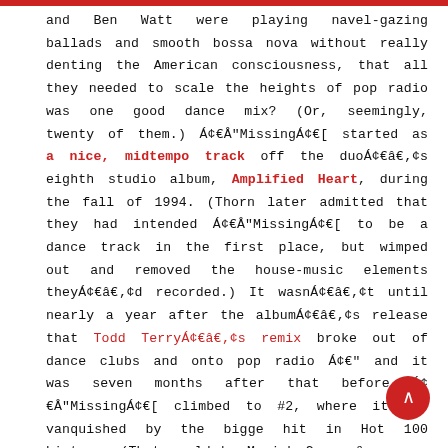and Ben Watt were playing navel-gazing ballads and smooth bossa nova without really denting the American consciousness, that all they needed to scale the heights of pop radio was one good dance mix? (Or, seemingly, twenty of them.) Á¢€Å"MissingÁ¢€ started as a nice, midtempo track off the duoÁ¢€â„¢s eighth studio album, Amplified Heart, during the fall of 1994. (Thorn later admitted that they had intended Á¢€Å"MissingÁ¢€ to be a dance track in the first place, but wimped out and removed the house-music elements theyÁ¢€â„¢d recorded.) It wasnÁ¢€â„¢t until nearly a year after the albumÁ¢€â„¢s release that Todd TerryÁ¢€â„¢s remix broke out of dance clubs and onto pop radio Á¢€" and it was seven months after that before Á¢€Å"MissingÁ¢€ climbed to #2, where it was vanquished by the biggest hit in Hot 100 history. (That would be Mariah Carey &